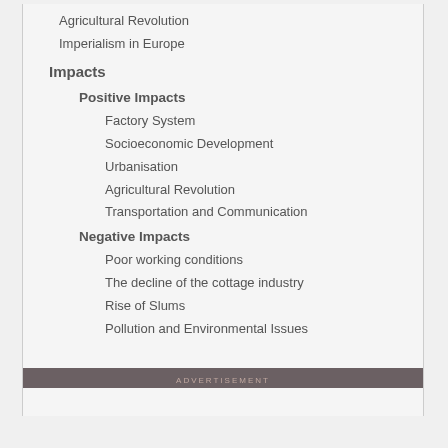Agricultural Revolution
Imperialism in Europe
Impacts
Positive Impacts
Factory System
Socioeconomic Development
Urbanisation
Agricultural Revolution
Transportation and Communication
Negative Impacts
Poor working conditions
The decline of the cottage industry
Rise of Slums
Pollution and Environmental Issues
ADVERTISEMENT